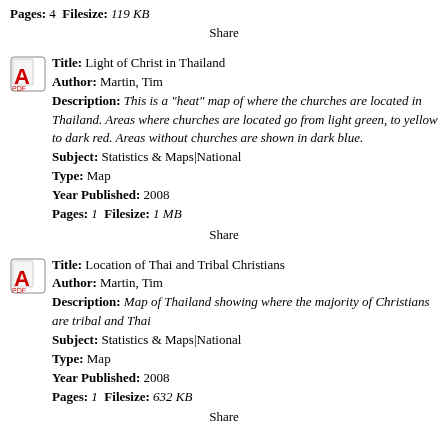Pages: 4 Filesize: 119 KB
Share
Title: Light of Christ in Thailand
Author: Martin, Tim
Description: This is a "heat" map of where the churches are located in Thailand. Areas where churches are located go from light green, to yellow to dark red. Areas without churches are shown in dark blue.
Subject: Statistics & Maps|National
Type: Map
Year Published: 2008
Pages: 1 Filesize: 1 MB
Share
Title: Location of Thai and Tribal Christians
Author: Martin, Tim
Description: Map of Thailand showing where the majority of Christians are tribal and Thai
Subject: Statistics & Maps|National
Type: Map
Year Published: 2008
Pages: 1 Filesize: 632 KB
Share